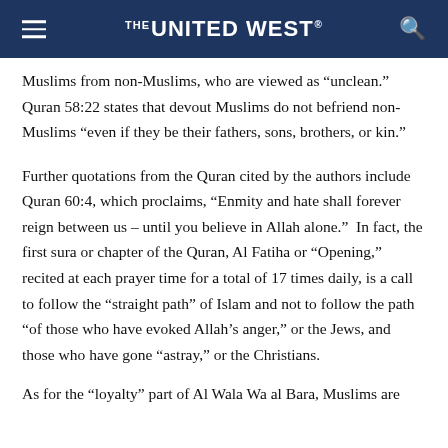THE UNITED WEST.
Muslims from non-Muslims, who are viewed as “unclean.”  Quran 58:22 states that devout Muslims do not befriend non-Muslims “even if they be their fathers, sons, brothers, or kin.”
Further quotations from the Quran cited by the authors include Quran 60:4, which proclaims, “Enmity and hate shall forever reign between us – until you believe in Allah alone.”  In fact, the first sura or chapter of the Quran, Al Fatiha or “Opening,” recited at each prayer time for a total of 17 times daily, is a call to follow the “straight path” of Islam and not to follow the path “of those who have evoked Allah’s anger,” or the Jews, and those who have gone “astray,” or the Christians.
As for the “loyalty” part of Al Wala Wa al Bara, Muslims are